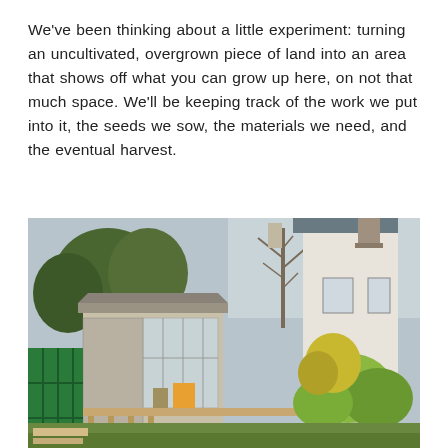We've been thinking about a little experiment: turning an uncultivated, overgrown piece of land into an area that shows off what you can grow up here, on not that much space. We'll be keeping track of the work we put into it, the seeds we sow, the materials we need, and the eventual harvest.
[Figure (photo): Outdoor photo showing a small greenhouse or potting shed with corrugated roof and glass panels, a green fence panel on the left, a yellow bucket inside the shed, overgrown garden area in front, and a white rendered Scottish cottage with chimney stack visible to the right, bare trees in the background against an overcast sky.]